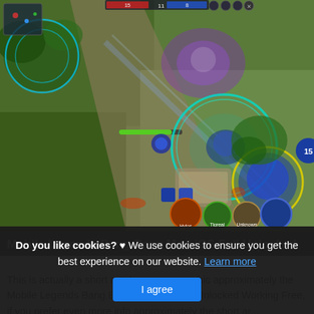[Figure (screenshot): Mobile Legends Bang Bang gameplay screenshot showing top-down battle scene with multiple characters, skill effects including teal circular AoE, purple/blue magical effects, player HUD elements including mini-map, health bars, skill icons, and character portraits at bottom]
Mobile Legends Bang Bang Mod iOS Full Unlocked
This is actually a short article or even graphic approximately the Mobile Legends Bang Bang Mod iOS Full Unlocked Working Free if you prefer even more info approximately the short ar...
Do you like cookies? ♥ We use cookies to ensure you get the best experience on our website. Learn more
I agree